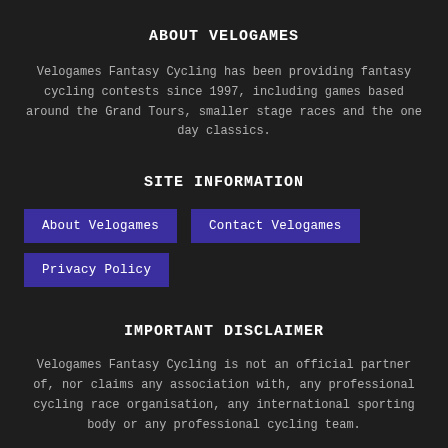ABOUT VELOGAMES
Velogames Fantasy Cycling has been providing fantasy cycling contests since 1997, including games based around the Grand Tours, smaller stage races and the one day classics.
SITE INFORMATION
About Velogames
Contact Velogames
Privacy Policy
IMPORTANT DISCLAIMER
Velogames Fantasy Cycling is not an official partner of, nor claims any association with, any professional cycling race organisation, any international sporting body or any professional cycling team.